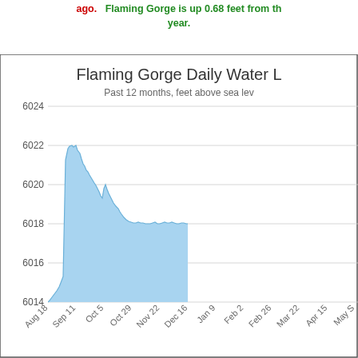ago.   Flaming Gorge is up 0.68 feet from the same time last year.
[Figure (area-chart): Area chart showing Flaming Gorge daily water level over past 12 months in feet above sea level. Water level peaks near 6022 around Sep 11 then declines steadily to about 6018 by Dec 16. Data ends around Dec 16 with remaining months showing no data.]